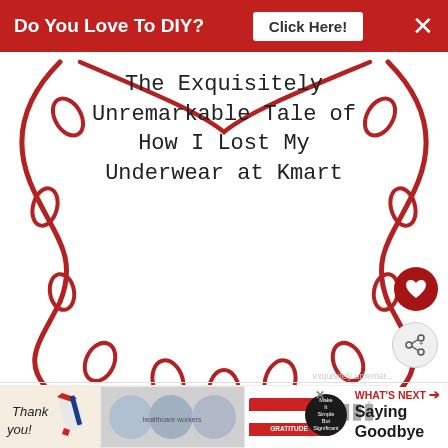Do You Love To DIY? Click Here! ×
[Figure (illustration): Decorative red swirling vine/lace border illustration on white background with title text overlaid: 'The Exquisitely Unremarkable Tale of How I Lost My Underwear at Kmart']
The Exquisitely Unremarkable Tale of How I Lost My Underwear at Kmart
[Figure (other): WHAT'S NEXT arrow label with circular logo and text 'Saying Goodbye']
[Figure (photo): Advertisement banner: Thank you text with American flag pencil illustration, photo of healthcare workers holding cards, Operation Gratitude logo with close button]